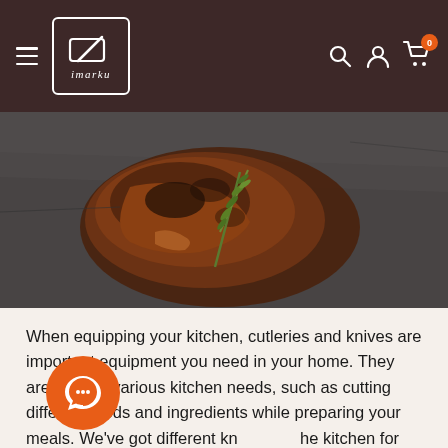imarku navigation bar with hamburger menu, logo, search, account, and cart icons
[Figure (photo): Close-up of a seared steak garnished with fresh rosemary on a dark slate surface, with a wooden knife handle visible on the right]
When equipping your kitchen, cutleries and knives are important equipment you need in your home. They are vital for various kitchen needs, such as cutting different foods and ingredients while preparing your meals. We've got different kn[ives for t]he kitchen for different cutting and chopping needs, bu[t the util]ity knife offers the best alternative for general manual use. Ahead, learn what the utility knife can be used for and what you should look for when shopping for it. Then, we